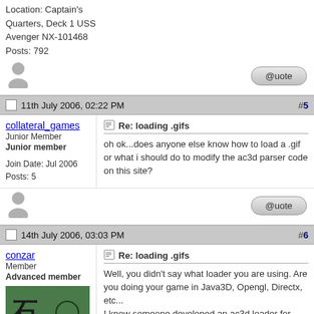Location: Captain's Quarters, Deck 1 USS Avenger NX-101468
Posts: 792
[Figure (illustration): Gray silhouette avatar icon of a person]
[Figure (illustration): Quote button - rounded pill shaped button]
11th July 2006, 02:22 PM   #5
collateral_games
Junior Member
Junior member
Join Date: Jul 2006
Posts: 5
Re: loading .gifs
oh ok...does anyone else know how to load a .gif or what i should do to modify the ac3d parser code on this site?
[Figure (illustration): Gray silhouette avatar icon]
[Figure (illustration): Quote button - rounded pill shaped button]
14th July 2006, 03:03 PM   #6
conzar
Member
Advanced member
Join Date: May 2006
Posts: 36
[Figure (illustration): Green avatar image with Chinese characters and a person figure drawing]
Re: loading .gifs
Well, you didn't say what loader you are using. Are you doing your game in Java3D, Opengl, Directx, etc...
I know someone developed an ac3d loader for java3d.

But from my experiance with importing 3d objects into any